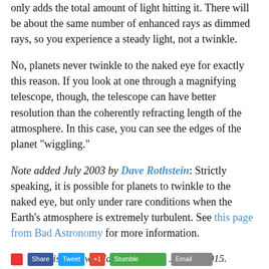only adds the total amount of light hitting it. There will be about the same number of enhanced rays as dimmed rays, so you experience a steady light, not a twinkle.
No, planets never twinkle to the naked eye for exactly this reason. If you look at one through a magnifying telescope, though, the telescope can have better resolution than the coherently refracting length of the atmosphere. In this case, you can see the edges of the planet "wiggling."
Note added July 2003 by Dave Rothstein: Strictly speaking, it is possible for planets to twinkle to the naked eye, but only under rare conditions when the Earth's atmosphere is extremely turbulent. See this page from Bad Astronomy for more information.
This page was last updated on July 18, 2015.